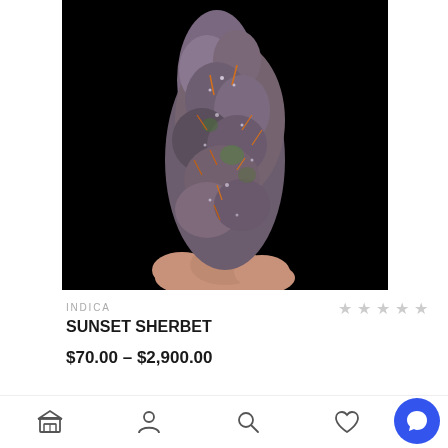[Figure (photo): Close-up photo of a cannabis bud (Sunset Sherbet strain) held between fingers against a black background. The bud is dense with purple and green hues, covered in orange hairs and trichomes.]
INDICA
[Figure (other): Five empty star rating icons]
SUNSET SHERBET
$70.00 – $2,900.00
[Figure (photo): Partially visible second product image at the bottom, showing dark greenish-brown tones]
Bottom navigation bar with store, account, search, and wishlist icons, plus a blue chat bubble button